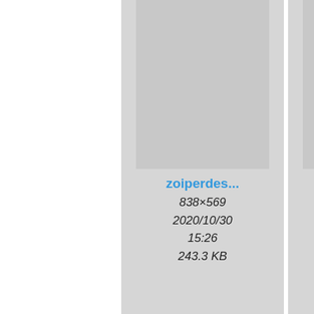[Figure (screenshot): File thumbnail grid showing image files named 'zoiperdes...' with dimensions and metadata. Row 1: card 1 - 838x569, 2020/10/30 15:26, 243.3 KB; card 2 - 839x569, 2020/10/30 15:18, 1.4 MB; card 3 (partial) - 840x..., 2020/... 15:..., 134... Row 2: card 1 - 579x164, 2020/10/30 15:18, 5.3 KB; card 2 - 582x485, 2020/10/30 15:18, 13.4 KB; card 3 (partial) - 838x..., 2020/... 15:..., 243.3...]